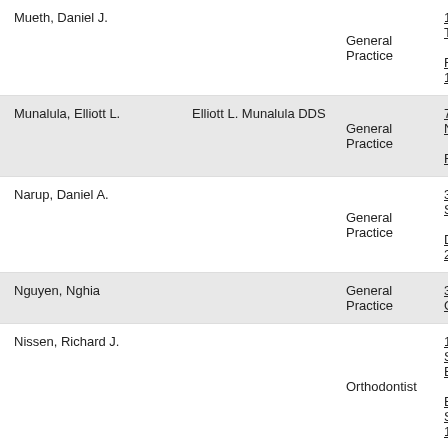| Name | Practice Name | Type | Address |
| --- | --- | --- | --- |
| Mueth, Daniel J. |  | General Practice | 12818 Tesson Rd Ste 102 |
| Munalula, Elliott L. | Elliott L. Munalula DDS | General Practice | 7619 Natural Rd |
| Narup, Daniel A. |  | General Practice | 3555 Sunset Dr St 202 |
| Nguyen, Nghia |  | General Practice | 3546 Gravois |
| Nissen, Richard J. |  | Orthodontist | 1034 S Brentwood Blvd Ste 1205 |
| Nolen, Scott F. | Travis & Nolen OMS, PC | Oral Surgeon | 1034 S Brentwood Blvd Ste 900 |